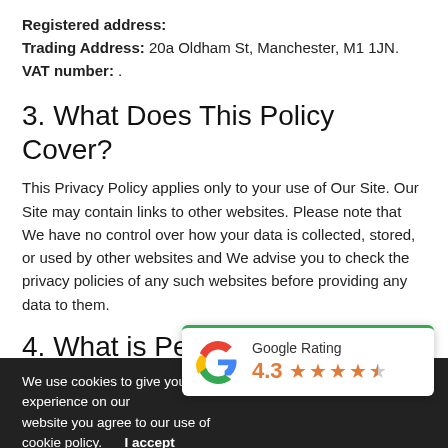Registered address:
Trading Address: 20a Oldham St, Manchester, M1 1JN.
VAT number: .
3. What Does This Policy Cover?
This Privacy Policy applies only to your use of Our Site. Our Site may contain links to other websites. Please note that We have no control over how your data is collected, stored, or used by other websites and We advise you to check the privacy policies of any such websites before providing any data to them.
4. What is Personal Data?
Personal data is defined by the General Data Protection
We use cookies to give you the best experience on our website you agree to our use of cookie policy.    I accept
[Figure (other): Google Rating popup showing 4.3 stars with Google G logo, green top border, white background card overlaying bottom right of page]